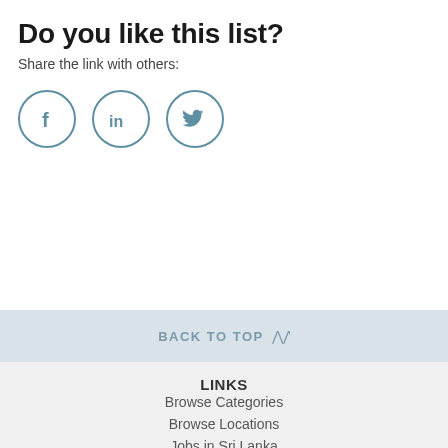Do you like this list?
Share the link with others:
[Figure (illustration): Three circular social media share buttons: Facebook (f), LinkedIn (in), Twitter (bird icon)]
BACK TO TOP ⋀
LINKS
Browse Categories
Browse Locations
Jobs in Sri Lanka
Our Global Network